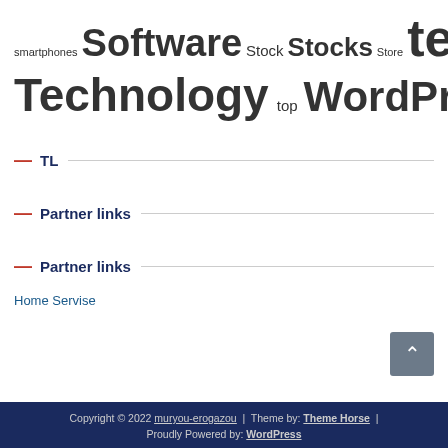smartphones Software Stock Stocks Store tech Technology top WordPress Year
TL
Partner links
Partner links
Home Servise
Copyright © 2022 muryou-erogazou | Theme by: Theme Horse | Proudly Powered by: WordPress